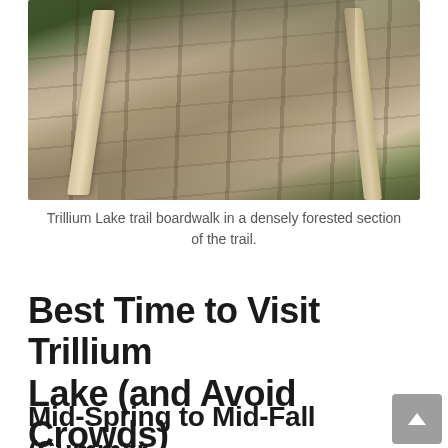[Figure (photo): Trillium Lake trail boardwalk in a densely forested section of the trail. Shows a wooden plank boardwalk with timber border rails stretching into the distance, surrounded by green forest and fallen leaves.]
Trillium Lake trail boardwalk in a densely forested section of the trail.
Best Time to Visit Trillium Lake (and Avoid Crowds)
Mid-Spring to Mid-Fall (Summer Hiking)